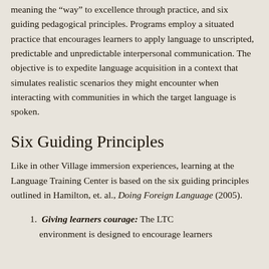meaning the “way” to excellence through practice, and six guiding pedagogical principles. Programs employ a situated practice that encourages learners to apply language to unscripted, predictable and unpredictable interpersonal communication. The objective is to expedite language acquisition in a context that simulates realistic scenarios they might encounter when interacting with communities in which the target language is spoken.
Six Guiding Principles
Like in other Village immersion experiences, learning at the Language Training Center is based on the six guiding principles outlined in Hamilton, et. al., Doing Foreign Language (2005).
1. Giving learners courage: The LTC environment is designed to encourage learners